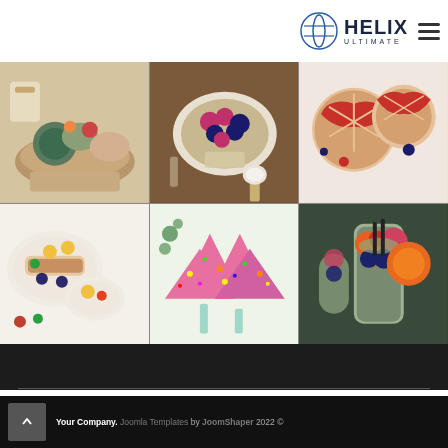HELIX ULTIMATE
[Figure (photo): Grid of six food photos: top row shows a gourmet sandwich/toast on a dark plate, a bowl of mixed berries and granola, and two mini berry pies; bottom row shows a colorful plate of sliced fish/meat with fruit, pink sprinkle cake slices, and a colorful fruit smoothie bowl in a glass]
Your Company. Joomla Templates by JoomShaper 2022 ©